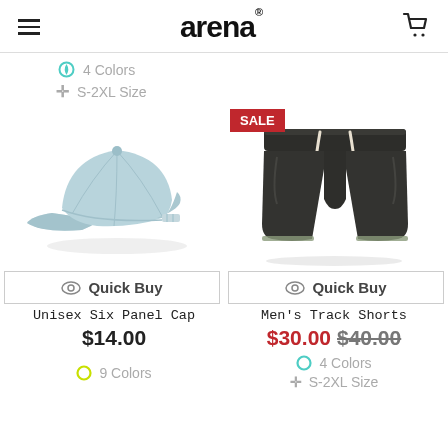arena (logo with hamburger menu and cart icon)
4 Colors
S-2XL Size
[Figure (photo): Light blue unisex six panel baseball cap on white background]
[Figure (photo): Dark olive/charcoal men's track shorts with white drawstring on white background, with SALE badge in red]
Quick Buy
Quick Buy
Unisex Six Panel Cap
Men's Track Shorts
$14.00
$30.00 $40.00
9 Colors
4 Colors
S-2XL Size